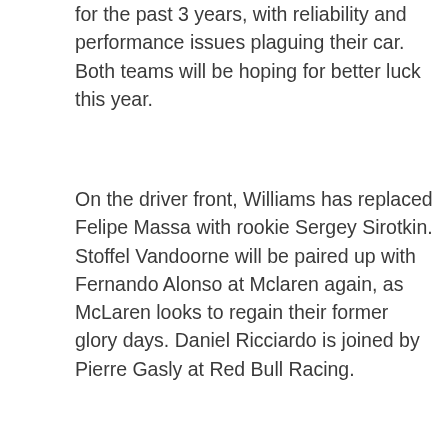for the past 3 years, with reliability and performance issues plaguing their car. Both teams will be hoping for better luck this year.
On the driver front, Williams has replaced Felipe Massa with rookie Sergey Sirotkin. Stoffel Vandoorne will be paired up with Fernando Alonso at Mclaren again, as McLaren looks to regain their former glory days. Daniel Ricciardo is joined by Pierre Gasly at Red Bull Racing.
You can watch Formula 1 on TV in several different ways. The most expensive option is to find a cable or satellite provider that carries the network you need and pay for that. The cheapest option is to find a free broadcast of the race you want to watch, which has its downsides.